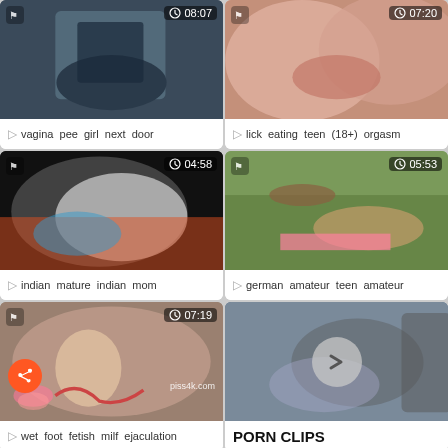[Figure (screenshot): Video thumbnail grid - top left: person in bathroom, duration 08:07, label: vagina pee girl next door]
[Figure (screenshot): Video thumbnail grid - top right: close up faces kissing, duration 07:20, label: lick eating teen (18+) orgasm]
[Figure (screenshot): Video thumbnail grid - middle left: blurry close-up, duration 04:58, label: indian mature indian mom]
[Figure (screenshot): Video thumbnail grid - middle right: outdoor sex scene, duration 05:53, label: german amateur teen amateur]
[Figure (screenshot): Video thumbnail grid - bottom left: close up with tattoo, duration 07:19, label: wet foot fetish milf ejaculation]
[Figure (screenshot): Video thumbnail grid - bottom right: couple in bed, label: PORN CLIPS]